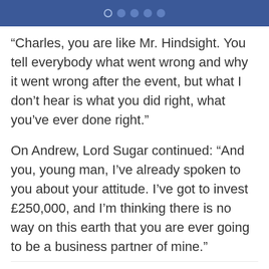“Charles, you are like Mr. Hindsight. You tell everybody what went wrong and why it went wrong after the event, but what I don’t hear is what you did right, what you’ve ever done right.”
On Andrew, Lord Sugar continued: “And you, young man, I’ve already spoken to you about your attitude. I’ve got to invest £250,000, and I’m thinking there is no way on this earth that you are ever going to be a business partner of mine.”